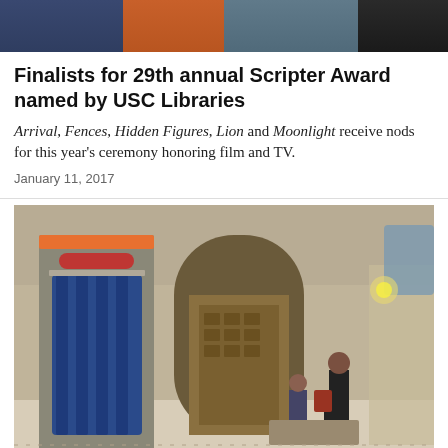[Figure (photo): Top banner image showing multiple people in different colored clothing segments]
Finalists for 29th annual Scripter Award named by USC Libraries
Arrival, Fences, Hidden Figures, Lion and Moonlight receive nods for this year's ceremony honoring film and TV.
January 11, 2017
[Figure (photo): Interior of a grand library hall with a photo booth or kiosk featuring blue curtains and orange trim, stone arched walls, wooden card catalog drawers visible through an archway, and people walking in the background]
Digital installation wins USC Libraries